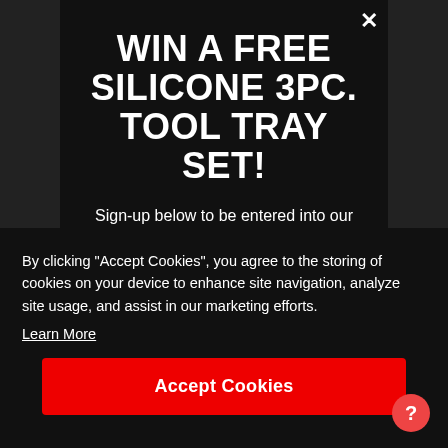WIN A FREE SILICONE 3PC. TOOL TRAY SET!
Sign-up below to be entered into our weekly tool tray giveaway. A new winner will be chosen every Friday.
Email
By clicking "Accept Cookies", you agree to the storing of cookies on your device to enhance site navigation, analyze site usage, and assist in our marketing efforts.
Learn More
Accept Cookies